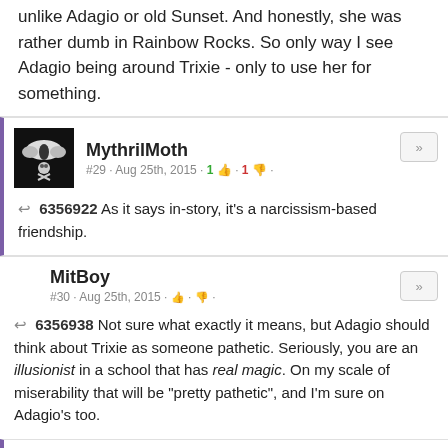unlike Adagio or old Sunset. And honestly, she was rather dumb in Rainbow Rocks. So only way I see Adagio being around Trixie - only to use her for something.
MythrilMoth
#29 · Aug 25th, 2015 · 1 👍 · 1 👎
↩ 6356922 As it says in-story, it's a narcissism-based friendship.
MitBoy
#30 · Aug 25th, 2015 · 👍 · 👎
↩ 6356938 Not sure what exactly it means, but Adagio should think about Trixie as someone pathetic. Seriously, you are an illusionist in a school that has real magic. On my scale of miserability that will be "pretty pathetic", and I'm sure on Adagio's too.